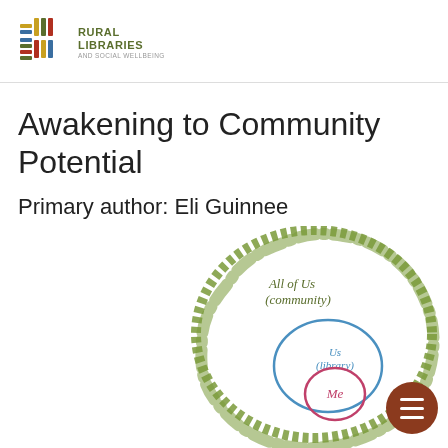[Figure (logo): Rural Libraries and Social Wellbeing logo with colorful cross/grid icon and text]
Awakening to Community Potential
Primary author: Eli Guinnee
[Figure (infographic): Concentric circles diagram: outer large green hand-drawn circle labeled 'All of Us (community)', middle blue circle labeled 'Us (library)', inner pink/magenta circle labeled 'Me']